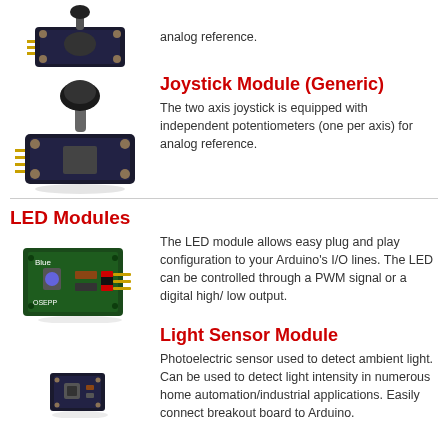analog reference.
[Figure (photo): Joystick module (generic) - black thumbstick on PCB circuit board with pins]
Joystick Module (Generic)
The two axis joystick is equipped with independent potentiometers (one per axis) for analog reference.
[Figure (photo): Joystick module (generic) - larger view, black thumbstick on PCB circuit board]
LED Modules
[Figure (photo): LED module - green PCB board labeled Blue and OSEPP with LED component and pins]
The LED module allows easy plug and play configuration to your Arduino's I/O lines. The LED can be controlled through a PWM signal or a digital high/ low output.
Light Sensor Module
[Figure (photo): Light sensor module - small PCB breakout board]
Photoelectric sensor used to detect ambient light. Can be used to detect light intensity in numerous home automation/industrial applications. Easily connect breakout board to Arduino.